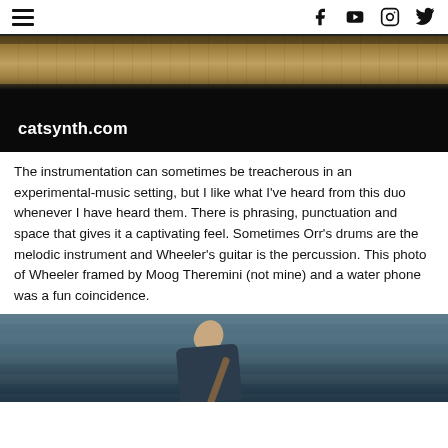catsynth.com — navigation with hamburger menu and social icons (Facebook, YouTube, Instagram, Twitter)
[Figure (photo): Hero/banner image showing a stage floor with equipment in background, dark lower half, with catsynth.com text overlay in white bold font]
The instrumentation can sometimes be treacherous in an experimental-music setting, but I like what I've heard from this duo whenever I have heard them. There is phrasing, punctuation and space that gives it a captivating feel. Sometimes Orr's drums are the melodic instrument and Wheeler's guitar is the percussion. This photo of Wheeler framed by Moog Theremini (not mine) and a water phone was a fun coincidence.
[Figure (photo): Photo of Wheeler, a musician leaning over his instrument, with teal/blue curtain backdrop]